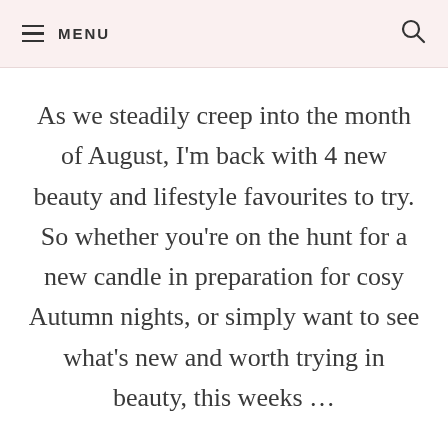MENU
As we steadily creep into the month of August, I'm back with 4 new beauty and lifestyle favourites to try. So whether you're on the hunt for a new candle in preparation for cosy Autumn nights, or simply want to see what's new and worth trying in beauty, this weeks …